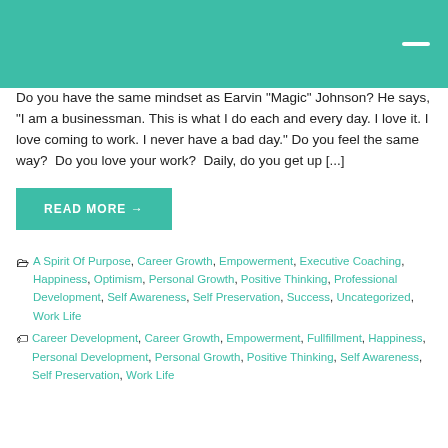[Figure (other): Teal/green header bar with a white dash/hamburger menu icon on the right]
Do you have the same mindset as Earvin "Magic" Johnson? He says, "I am a businessman. This is what I do each and every day. I love it. I love coming to work. I never have a bad day." Do you feel the same way? Do you love your work? Daily, do you get up [...]
READ MORE →
A Spirit Of Purpose, Career Growth, Empowerment, Executive Coaching, Happiness, Optimism, Personal Growth, Positive Thinking, Professional Development, Self Awareness, Self Preservation, Success, Uncategorized, Work Life
Career Development, Career Growth, Empowerment, Fullfillment, Happiness, Personal Development, Personal Growth, Positive Thinking, Self Awareness, Self Preservation, Work Life